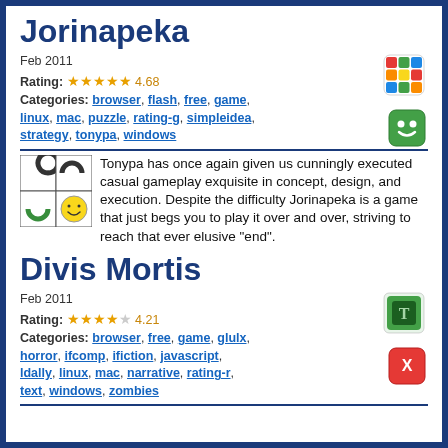Jorinapeka
Feb 2011
Rating: ★★★★★ 4.68
Categories: browser, flash, free, game, linux, mac, puzzle, rating-g, simpleidea, strategy, tonypa, windows
[Figure (illustration): Colorful Rubik's cube icon]
[Figure (illustration): Green smiley face icon]
Tonypa has once again given us cunningly executed casual gameplay exquisite in concept, design, and execution. Despite the difficulty Jorinapeka is a game that just begs you to play it over and over, striving to reach that ever elusive "end".
Divis Mortis
Feb 2011
Rating: ★★★★☆ 4.21
Categories: browser, free, game, glulx, horror, ifcomp, ifiction, javascript, ldally, linux, mac, narrative, rating-r, text, windows, zombies
[Figure (illustration): Green cube with T logo icon]
[Figure (illustration): Red icon with X mark]